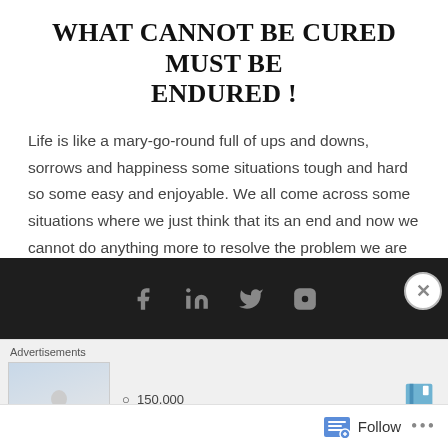WHAT CANNOT BE CURED MUST BE ENDURED !
Life is like a mary-go-round full of ups and downs, sorrows and happiness some situations tough and hard so some easy and enjoyable. We all come across some situations where we just think that its an end and now we cannot do anything more to resolve the problem we are in, but as it is…
[Figure (other): READ MORE button in amber/gold color]
Social media icons: Facebook, LinkedIn, Twitter, Instagram
[Figure (other): Advertisements bar with image placeholder, number 150,000, and book icon]
[Figure (other): Follow bar with follow button and ellipsis]